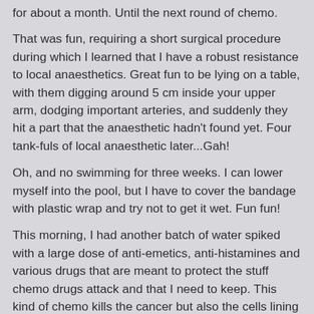for about a month. Until the next round of chemo.
That was fun, requiring a short surgical procedure during which I learned that I have a robust resistance to local anaesthetics. Great fun to be lying on a table, with them digging around 5 cm inside your upper arm, dodging important arteries, and suddenly they hit a part that the anaesthetic hadn't found yet. Four tank-fuls of local anaesthetic later...Gah!
Oh, and no swimming for three weeks. I can lower myself into the pool, but I have to cover the bandage with plastic wrap and try not to get it wet. Fun fun!
This morning, I had another batch of water spiked with a large dose of anti-emetics, anti-histamines and various drugs that are meant to protect the stuff chemo drugs attack and that I need to keep. This kind of chemo kills the cancer but also the cells lining the bladder, and the kidneys and the brain, so as I've been having the IV drips of the deadly stuff, I've been given small doses of "antidoto" in the form of pills that dissolve in a glass of water to stave of "neurotoxicity".